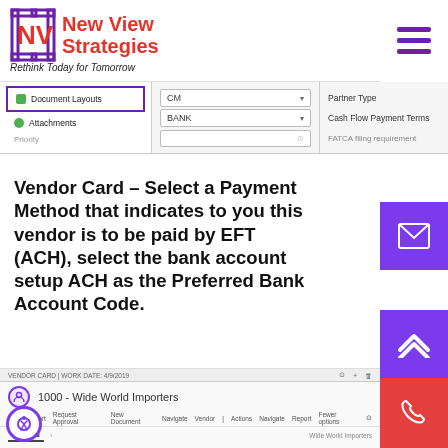[Figure (logo): New View Strategies logo with NV monogram in red, tagline 'Rethink Today for Tomorrow']
[Figure (screenshot): Screenshot of document layouts navigation menu with Document Layouts and Attachments items, dropdown fields showing CM and BANK, and Partner Type / Cash Flow Payment Terms labels]
Vendor Card – Select a Payment Method that indicates to you this vendor is to be paid by EFT (ACH), select the bank account setup ACH as the Preferred Bank Account Code.
[Figure (screenshot): Bottom screenshot showing Vendor Card for 10000 - Wide World Importers with navigation bar and General tab]